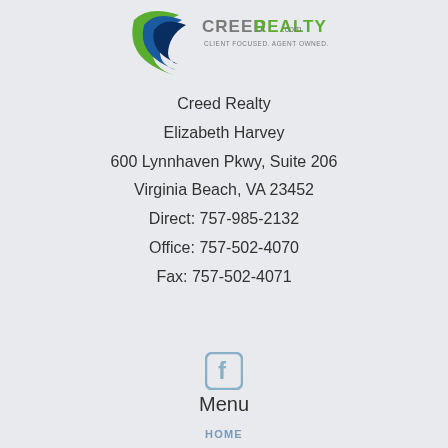[Figure (logo): Creed Realty logo with green and blue swoosh and text 'CREEDREALTY.com CLIENT FOCUSED. AGENT OWNED.']
Creed Realty
Elizabeth Harvey
600 Lynnhaven Pkwy, Suite 206
Virginia Beach, VA 23452
Direct: 757-985-2132
Office: 757-502-4070
Fax: 757-502-4071
[Figure (illustration): Facebook icon (stylized letter f in light blue/grey outline)]
Menu
HOME
SEARCH HOMES
FEATURED
MY NOTEBOOK